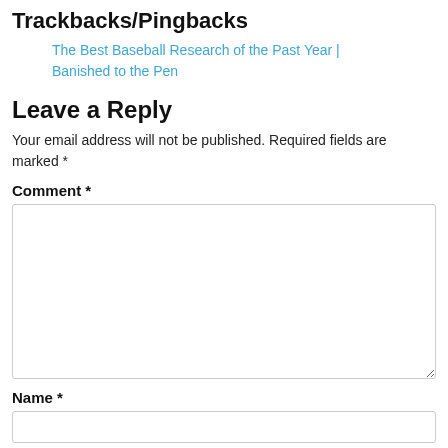Trackbacks/Pingbacks
The Best Baseball Research of the Past Year | Banished to the Pen
Leave a Reply
Your email address will not be published. Required fields are marked *
Comment *
Name *